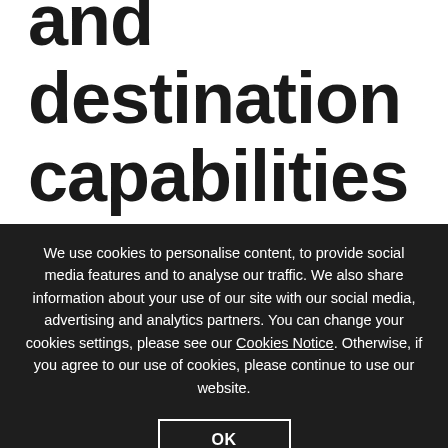and destination capabilities in France by acquiring manufacturers
We use cookies to personalise content, to provide social media features and to analyse our traffic. We also share information about your use of our site with our social media, advertising and analytics partners. You can change your cookies settings, please see our Cookies Notice. Otherwise, if you agree to our use of cookies, please continue to use our website.
OK